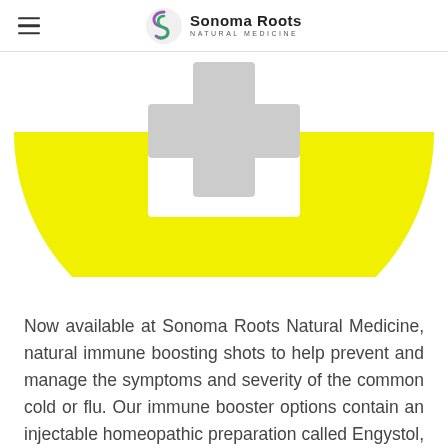Sonoma Roots Natural Medicine
[Figure (illustration): A yellow semicircle (bottom half) with a white rectangular medicine cabinet or first-aid box shape in the center top, containing a gray plus/cross symbol. The image represents an immune booster or medical injection concept.]
Now available at Sonoma Roots Natural Medicine, natural immune boosting shots to help prevent and manage the symptoms and severity of the common cold or flu. Our immune booster options contain an injectable homeopathic preparation called Engystol, and may combine B-12 & vitamin D